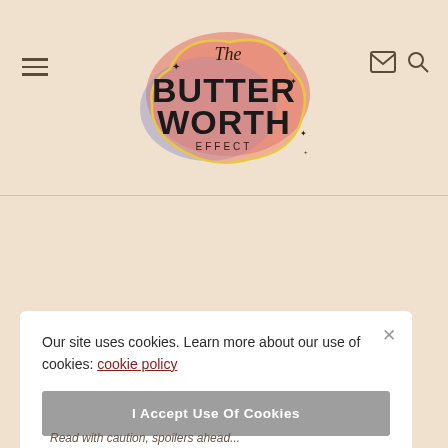[Figure (logo): The Butterworth Effect logo with colorful blob background shape, sparkle decorations, script 'The' text, bold 'BUTTER WORTH' text and 'EFFECT' subtitle]
Our site uses cookies. Learn more about our use of cookies: cookie policy
I Accept Use Of Cookies
Read with caution, spoilers ahead...